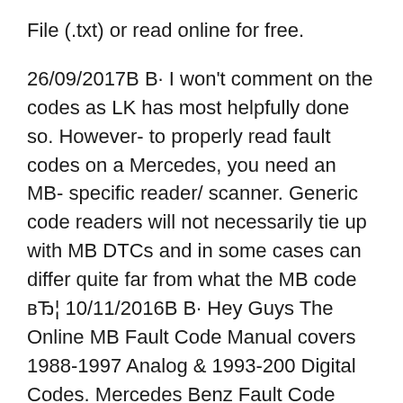File (.txt) or read online for free.
26/09/2017В В· I won't comment on the codes as LK has most helpfully done so. However- to properly read fault codes on a Mercedes, you need an MB- specific reader/ scanner. Generic code readers will not necessarily tie up with MB DTCs and in some cases can differ quite far from what the MB code вЂ¦ 10/11/2016В В· Hey Guys The Online MB Fault Code Manual covers 1988-1997 Analog & 1993-200 Digital Codes. Mercedes Benz Fault Code Manual OR Here it is ! View attachment Mercedes Fault Code Manual.pdf Show Full Signature
Mercedes Benz Fault Code Manual - Free download as PDF File (.pdf), Text File (.txt) or